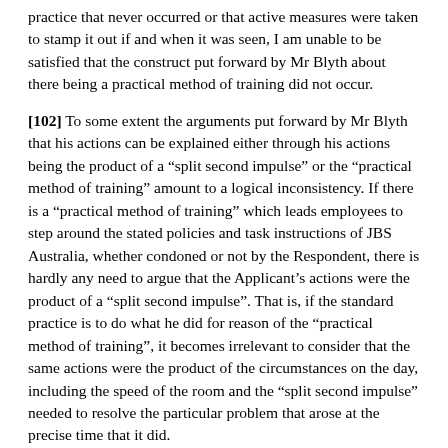practice that never occurred or that active measures were taken to stamp it out if and when it was seen, I am unable to be satisfied that the construct put forward by Mr Blyth about there being a practical method of training did not occur.
[102] To some extent the arguments put forward by Mr Blyth that his actions can be explained either through his actions being the product of a “split second impulse” or the “practical method of training” amount to a logical inconsistency. If there is a “practical method of training” which leads employees to step around the stated policies and task instructions of JBS Australia, whether condoned or not by the Respondent, there is hardly any need to argue that the Applicant’s actions were the product of a “split second impulse”. That is, if the standard practice is to do what he did for reason of the “practical method of training”, it becomes irrelevant to consider that the same actions were the product of the circumstances on the day, including the speed of the room and the “split second impulse” needed to resolve the particular problem that arose at the precise time that it did.
[103] On the other hand the evidence leans towards the actions of Mr Blyth in fact being the product of wanting to help out in the face of the problems being experienced by Mr Chuntai and others. Those problems, however, were problems of pressure and workflow and not of emergency. While the temptation to